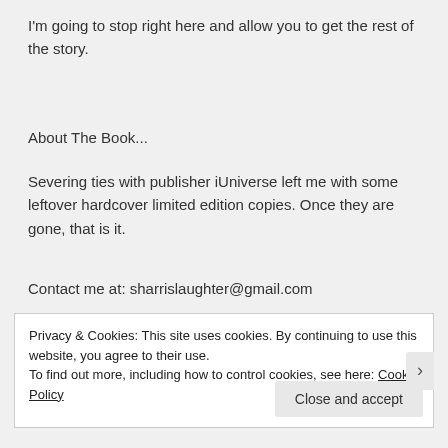I'm going to stop right here and allow you to get the rest of the story.
About The Book...
Severing ties with publisher iUniverse left me with some leftover hardcover limited edition copies. Once they are gone, that is it.
Contact me at: sharrislaughter@gmail.com
Privacy & Cookies: This site uses cookies. By continuing to use this website, you agree to their use.
To find out more, including how to control cookies, see here: Cookie Policy